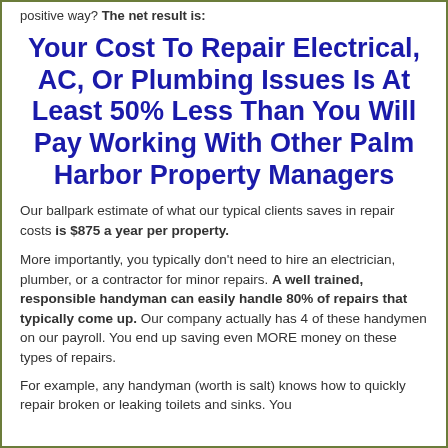positive way? The net result is:
Your Cost To Repair Electrical, AC, Or Plumbing Issues Is At Least 50% Less Than You Will Pay Working With Other Palm Harbor Property Managers
Our ballpark estimate of what our typical clients saves in repair costs is $875 a year per property.
More importantly, you typically don't need to hire an electrician, plumber, or a contractor for minor repairs. A well trained, responsible handyman can easily handle 80% of repairs that typically come up. Our company actually has 4 of these handymen on our payroll. You end up saving even MORE money on these types of repairs.
For example, any handyman (worth is salt) knows how to quickly repair broken or leaking toilets and sinks. You